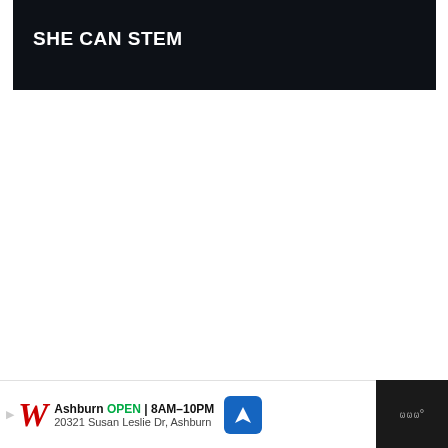SHE CAN STEM
Alas, I didn’t experience anything myself while I was in the Underground; nor did my photos turn up anything out of the ordinary, even after some light
[Figure (screenshot): WHAT'S NEXT arrow overlay with thumbnail image and text: Haunted Road Trip: The...]
Ashburn OPEN 8AM–10PM 20321 Susan Leslie Dr, Ashburn